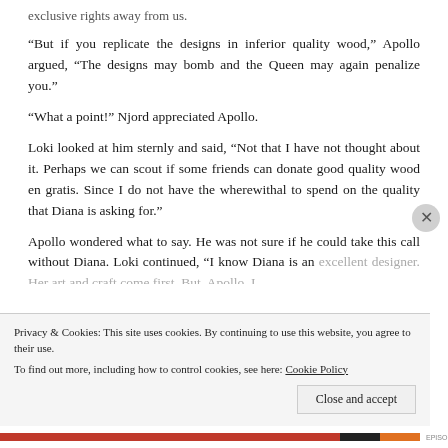exclusive rights away from us.
“But if you replicate the designs in inferior quality wood,” Apollo argued, “The designs may bomb and the Queen may again penalize you.”
“What a point!” Njord appreciated Apollo.
Loki looked at him sternly and said, “Not that I have not thought about it. Perhaps we can scout if some friends can donate good quality wood en gratis. Since I do not have the wherewithal to spend on the quality that Diana is asking for.”
Apollo wondered what to say. He was not sure if he could take this call without Diana. Loki continued, “I know Diana is an excellent designer. Her art and craft come first. But, Apollo, I
Privacy & Cookies: This site uses cookies. By continuing to use this website, you agree to their use.
To find out more, including how to control cookies, see here: Cookie Policy
Close and accept